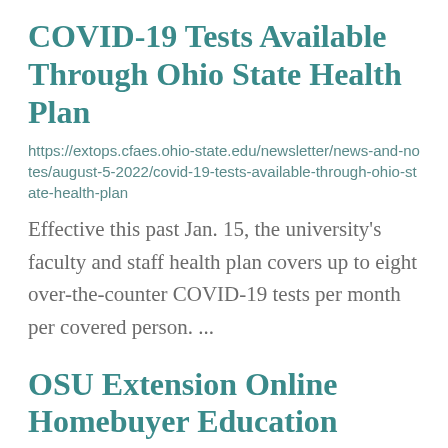COVID-19 Tests Available Through Ohio State Health Plan
https://extops.cfaes.ohio-state.edu/newsletter/news-and-notes/august-5-2022/covid-19-tests-available-through-ohio-state-health-plan
Effective this past Jan. 15, the university's faculty and staff health plan covers up to eight over-the-counter COVID-19 tests per month per covered person. ...
OSU Extension Online Homebuyer Education Program
https://fcs.osu.edu/homebuyer-education-program
County, OH Athens County, OH Auglaize